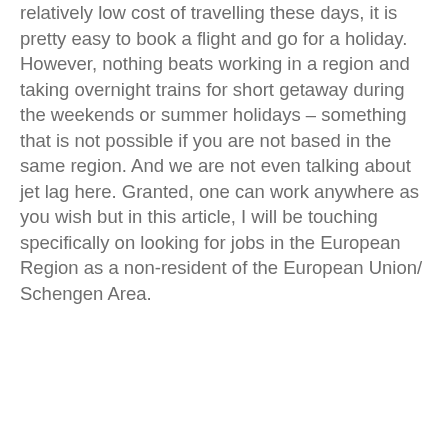relatively low cost of travelling these days, it is pretty easy to book a flight and go for a holiday. However, nothing beats working in a region and taking overnight trains for short getaway during the weekends or summer holidays – something that is not possible if you are not based in the same region. And we are not even talking about jet lag here. Granted, one can work anywhere as you wish but in this article, I will be touching specifically on looking for jobs in the European Region as a non-resident of the European Union/ Schengen Area.